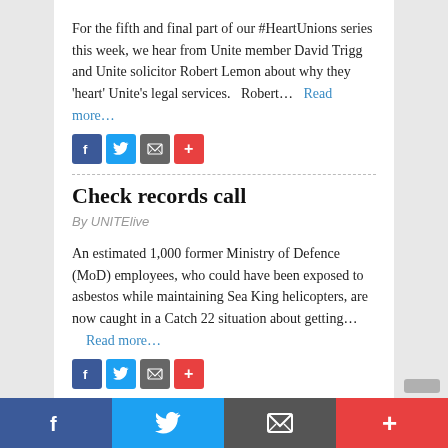For the fifth and final part of our #HeartUnions series this week, we hear from Unite member David Trigg and Unite solicitor Robert Lemon about why they 'heart' Unite's legal services.   Robert…   Read more…
[Figure (infographic): Social share buttons: Facebook (blue), Twitter (light blue), Email (gray), More (red)]
Check records call
By UNITElive
An estimated 1,000 former Ministry of Defence (MoD) employees, who could have been exposed to asbestos while maintaining Sea King helicopters, are now caught in a Catch 22 situation about getting…  Read more…
[Figure (infographic): Social share buttons: Facebook (blue), Twitter (light blue), Email (gray), More (red)]
[Figure (infographic): Bottom bar with large social share icons: Facebook, Twitter, Email, More]